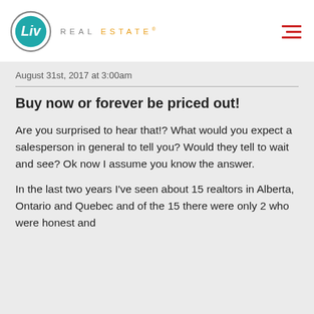Liv REAL ESTATE
August 31st, 2017 at 3:00am
Buy now or forever be priced out!
Are you surprised to hear that!? What would you expect a salesperson in general to tell you? Would they tell to wait and see? Ok now I assume you know the answer.
In the last two years I've seen about 15 realtors in Alberta, Ontario and Quebec and of the 15 there were only 2 who were honest and